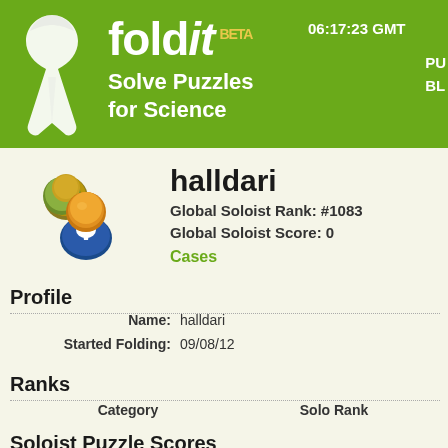fold it BETA — Solve Puzzles for Science — 06:17:23 GMT
[Figure (illustration): Foldit logo with white ribbon icon, green banner header with tagline 'Solve Puzzles for Science' and timestamp '06:17:23 GMT']
[Figure (illustration): User avatar group icon showing green and blue/yellow figures]
halldari
Global Soloist Rank: #1083
Global Soloist Score: 0
Cases
Profile
|  |  |
| --- | --- |
| Name: | halldari |
| Started Folding: | 09/08/12 |
Ranks
| Category | Solo Rank |  |
| --- | --- | --- |
Soloist Puzzle Scores